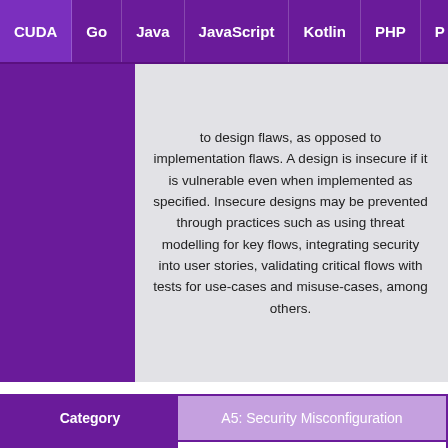CUDA | Go | Java | JavaScript | Kotlin | PHP | P
to design flaws, as opposed to implementation flaws. A design is insecure if it is vulnerable even when implemented as specified. Insecure designs may be prevented through practices such as using threat modelling for key flows, integrating security into user stories, validating critical flows with tests for use-cases and misuse-cases, among others.
| Category | A5: Security Misconfiguration |
| --- | --- |
| CWE | 1349 |
| Description | Security misconfiguration is commonly a result of insecure |